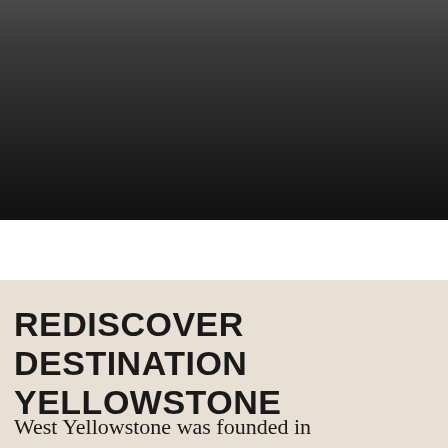[Figure (photo): Dark photograph with gradient from dark gray at top to near black at bottom, appearing to show a landscape or sky scene.]
REDISCOVER DESTINATION YELLOWSTONE
West Yellowstone was founded in